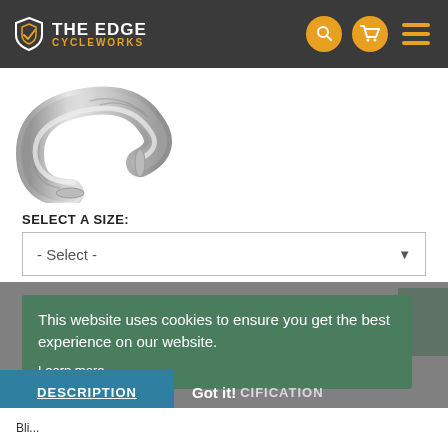[Figure (logo): The Edge Cycleworks logo — shield icon on left, text 'THE EDGE' in white and 'CYCLEWORKS' in orange on dark header bar]
[Figure (photo): Metallic curved handlebar tube / pipe bend product photo on white background]
SELECT A SIZE:
- Select -
CHOOSE AN OPTION ABOVE
This website uses cookies to ensure you get the best experience on our website.
Learn more
DESCRIPTION
Got it!
SPECIFICATION
Bli...